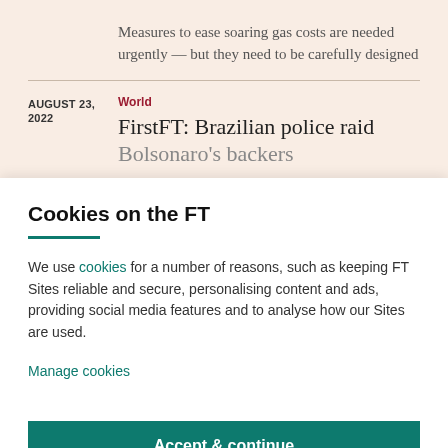Measures to ease soaring gas costs are needed urgently — but they need to be carefully designed
AUGUST 23, 2022
World
FirstFT: Brazilian police raid Bolsonaro's backers
Cookies on the FT
We use cookies for a number of reasons, such as keeping FT Sites reliable and secure, personalising content and ads, providing social media features and to analyse how our Sites are used.
Manage cookies
Accept & continue